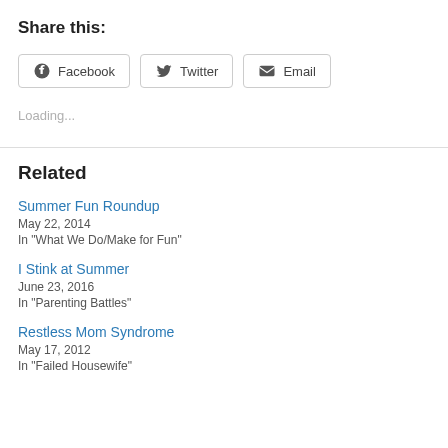Share this:
Facebook  Twitter  Email
Loading...
Related
Summer Fun Roundup
May 22, 2014
In "What We Do/Make for Fun"
I Stink at Summer
June 23, 2016
In "Parenting Battles"
Restless Mom Syndrome
May 17, 2012
In "Failed Housewife"